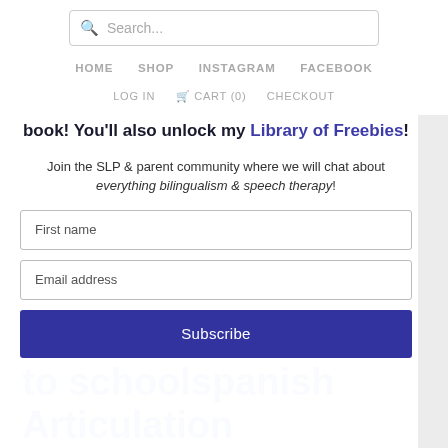Search... HOME SHOP INSTAGRAM FACEBOOK LOG IN CART (0) CHECKOUT
book! You'll also unlock my Library of Freebies!
Join the SLP & parent community where we will chat about everything bilingualism & speech therapy!
First name
Email address
Subscribe
to schoolspanish Articulation